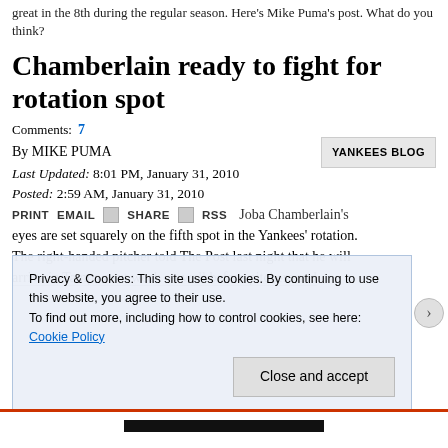great in the 8th during the regular season. Here's Mike Puma's post. What do you think?
Chamberlain ready to fight for rotation spot
Comments: 7
By MIKE PUMA
Last Updated: 8:01 PM, January 31, 2010
Posted: 2:59 AM, January 31, 2010
PRINT EMAIL SHARE RSS
Joba Chamberlain's eyes are set squarely on the fifth spot in the Yankees' rotation. The right-handed pitcher told The Post last night that he will arrive in Tampa next week — well before pitchers and
Privacy & Cookies: This site uses cookies. By continuing to use this website, you agree to their use. To find out more, including how to control cookies, see here: Cookie Policy
Close and accept